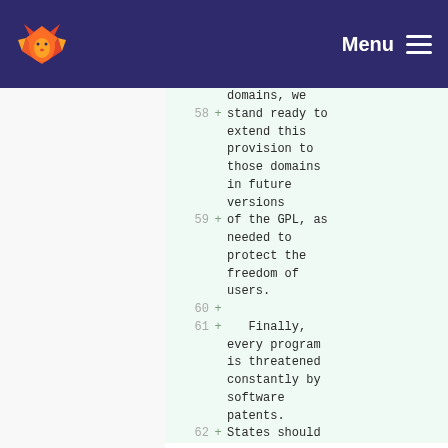Menu
58 + stand ready to extend this provision to those domains in future versions
59 + of the GPL, as needed to protect the freedom of users.
60 +
61 +    Finally, every program is threatened constantly by software patents.
62 + States should